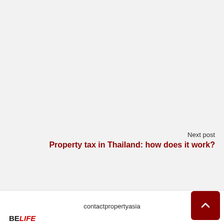Next post
Property tax in Thailand: how does it work?
contactpropertyasia
BELIFE